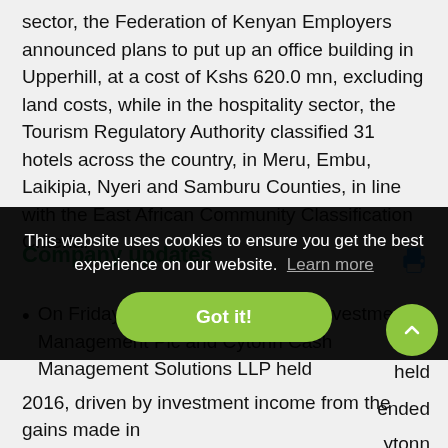sector, the Federation of Kenyan Employers announced plans to put up an office building in Upperhill, at a cost of Kshs 620.0 mn, excluding land costs, while in the hospitality sector, the Tourism Regulatory Authority classified 31 hotels across the country, in Meru, Embu, Laikipia, Nyeri and Samburu Counties, in line with the East African Community Classification Criteria.
Company updates
On Friday, 18 May 2018, Cytonn Investments Management Plc and Cytonn Cash Management Solutions LLP held [content partially obscured by cookie banner] ended [content partially obscured] ytonn
2016, driven by investment income from the gains made in